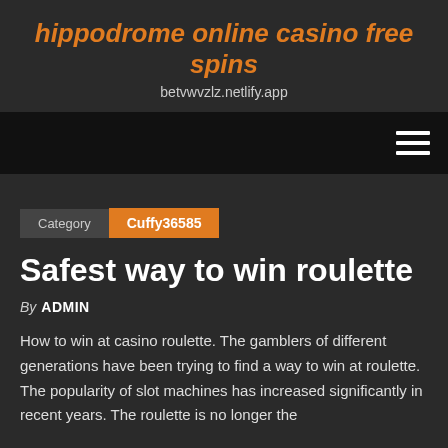hippodrome online casino free spins
betvwvzlz.netlify.app
[Figure (other): Navigation bar with hamburger menu icon (three horizontal lines) on dark background]
Category   Cuffy36585
Safest way to win roulette
By ADMIN
How to win at casino roulette. The gamblers of different generations have been trying to find a way to win at roulette. The popularity of slot machines has increased significantly in recent years. The roulette is no longer the